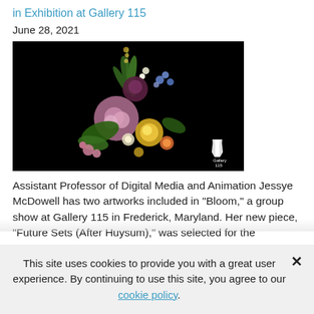in Exhibition at Gallery 115
June 28, 2021
[Figure (photo): Dark background floral arrangement artwork showing colorful flowers including yellow, pink, and blue blooms with green foliage, with a Gallery 115 logo in the lower right corner.]
Assistant Professor of Digital Media and Animation Jessye McDowell has two artworks included in "Bloom," a group show at Gallery 115 in Frederick, Maryland. Her new piece, "Future Sets (After Huysum)," was selected for the catalogue cover. The exhibition runs from June 18-
This site uses cookies to provide you with a great user experience. By continuing to use this site, you agree to our cookie policy.